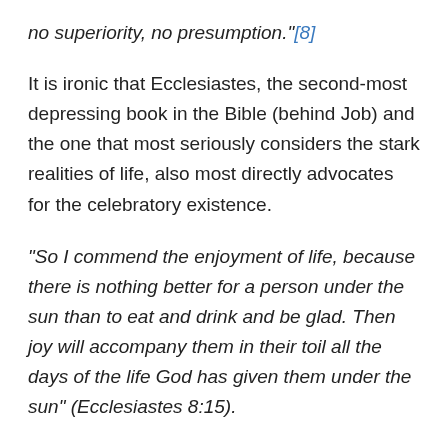no superiority, no presumption."[8]
It is ironic that Ecclesiastes, the second-most depressing book in the Bible (behind Job) and the one that most seriously considers the stark realities of life, also most directly advocates for the celebratory existence.
“So I commend the enjoyment of life, because there is nothing better for a person under the sun than to eat and drink and be glad. Then joy will accompany them in their toil all the days of the life God has given them under the sun” (Ecclesiastes 8:15).
The philosopher behind those words had carefully considered life and declared that it was all “utterly meaningless.” People come and go and the poor, battered earth remains. The children of men were eternally